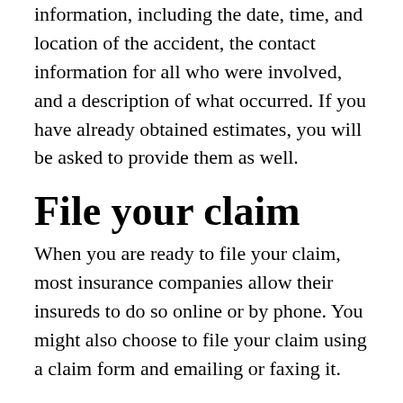information, including the date, time, and location of the accident, the contact information for all who were involved, and a description of what occurred. If you have already obtained estimates, you will be asked to provide them as well.
File your claim
When you are ready to file your claim, most insurance companies allow their insureds to do so online or by phone. You might also choose to file your claim using a claim form and emailing or faxing it.
After your claim has been filed, the insurance company will likely send an insurance adjuster to investigate. He or she will want to survey the damage and talk to you about what occurred. After he or she determines the